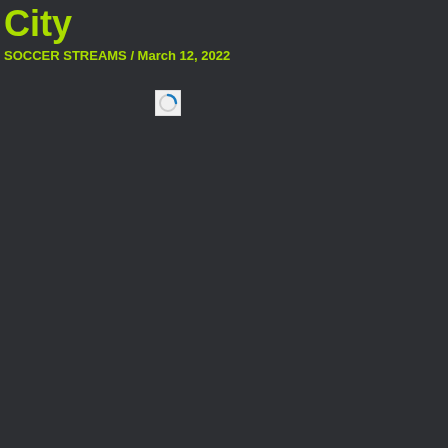City
SOCCER STREAMS / March 12, 2022
[Figure (screenshot): Small loading spinner icon, a circular arrow in blue and white, inside a small square box]
Pls consider donating to help us pay server costs, any